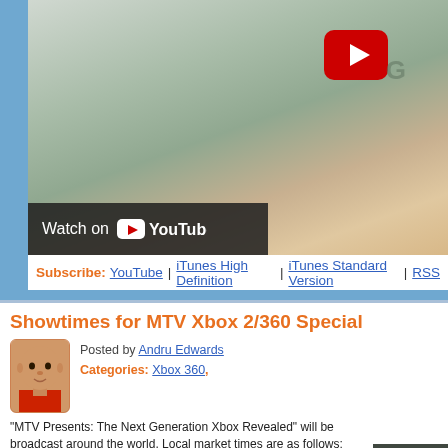[Figure (screenshot): YouTube video thumbnail showing a hand holding a green smartphone with the YouTube play button overlay and 'Watch on YouTube' bar at bottom]
Subscribe: YouTube | iTunes High Definition | iTunes Standard Version | RSS
Showtimes for MTV Xbox 2/360 Special
[Figure (photo): Author avatar photo of Andru Edwards, a bald man wearing a red shirt]
Posted by Andru Edwards
Categories: Xbox 360,
“MTV Presents: The Next Generation Xbox Revealed” will be broadcast around the world. Local market times are as follows:
North America: Thursday, May 12, at 9:30 p.m. (21:30)
Japan/Asia: Friday, May 13, at 11:30
Europe: France: Friday, May 13, at 19:00